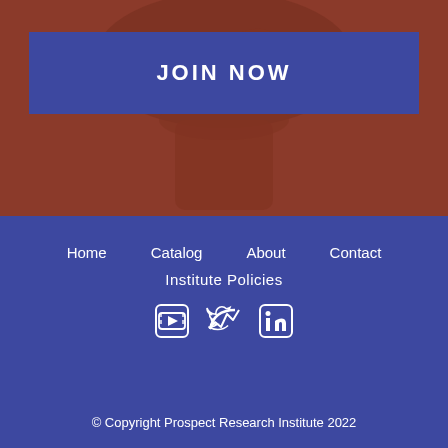[Figure (illustration): Red/brown background with faded brain and human head silhouette illustration]
JOIN NOW
Home   Catalog   About   Contact
Institute Policies
[Figure (infographic): Social media icons: YouTube, Twitter, LinkedIn]
© Copyright Prospect Research Institute 2022